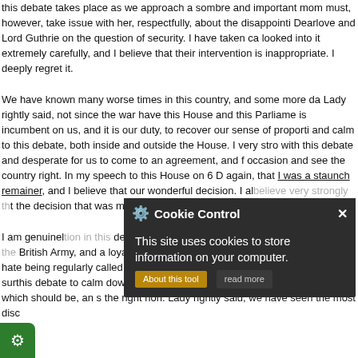this debate takes place as we approach a sombre and important mom must, however, take issue with her, respectfully, about the disappointi Dearlove and Lord Guthrie on the question of security. I have taken ca looked into it extremely carefully, and I believe that their intervention is inappropriate. I deeply regret it.

We have known many worse times in this country, and some more da Lady rightly said, not since the war have this House and this Parliame is incumbent on us, and it is our duty, to recover our sense of proporti and calm to this debate, both inside and outside the House. I very stro with this debate and desperate for us to come to an agreement, and f occasion and see the country right. In my speech to this House on 6 D again, that I was a staunch remainer, and I believe that our wonderful decision. I al believe very strongly th t the decision that was made i the European Union must be honoured.

I am genuinel tion in this debate as a Member of Parliame former officer in the British Army, and a loyal servant and subject of th many other Members, I hate being regularly called a “traitor” in corres ecessary for the language sur this debate to calm down, an rn our debate, not necessarily in this House, which should be, an s the right hon. Lady rightly said, we have seen the most disc
[Figure (other): Cookie Control popup overlay with dark background, gear/sun icon, title 'Cookie Control', close X button, body text 'This site uses cookies to store information on your computer.', 'About this tool' button in gold/amber, and 'read more' button below.]